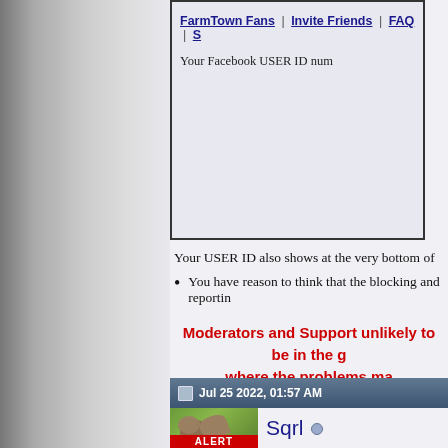FarmTown Fans | Invite Friends | FAQ | S
Your Facebook USER ID num
Your USER ID also shows at the very bottom of
You have reason to think that the blocking and reportin
Moderators and Support unlikely to be in the g where the problems ma
It is up to you to act accordingly when you see
Last edited by Tiger; Jul 25 2022 at 04:23 AM.
Jul 25 2022, 01:57 AM
Sqrl